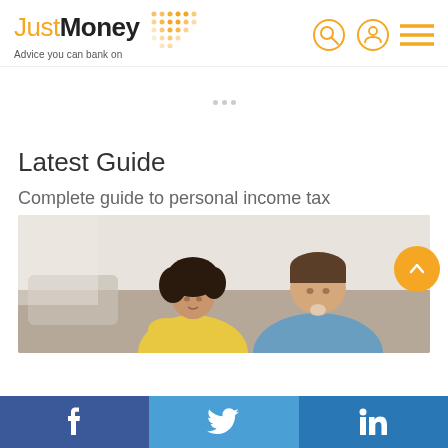JustMoney — Advice you can bank on
Latest Guide
Complete guide to personal income tax
[Figure (photo): A couple (woman in yellow top, man in blue shirt) sitting together looking downward, likely reviewing financial documents]
Facebook | Twitter | LinkedIn social share bar